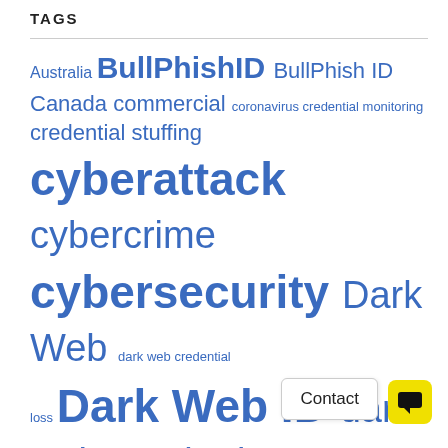TAGS
Australia BullPhishID BullPhish ID Canada commercial coronavirus credential monitoring credential stuffing cyberattack cybercrime cybersecurity Dark Web dark web credential loss Dark Web ID dark web monitoring dark web threat Data Breach Data Breach Alerts data compromised data loss prevention data theft hacking healthcare insider threats MSPs MSP Solutions MSP Space nation-state hackers Passly passwords phishing phishing m… ransomware … security